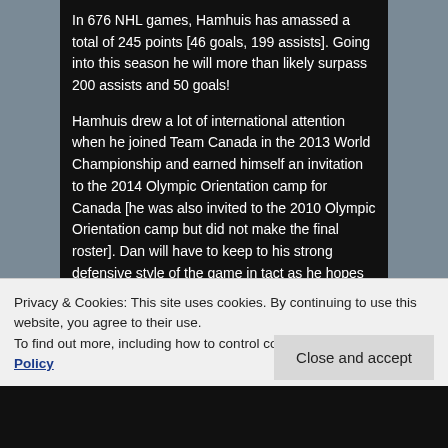In 676 NHL games, Hamhuis has amassed a total of 245 points [46 goals, 199 assists]. Going into this season he will more than likely surpass 200 assists and 50 goals!
Hamhuis drew a lot of international attention when he joined Team Canada in the 2013 World Championship and earned himself an invitation to the 2014 Olympic Orientation camp for Canada [he was also invited to the 2010 Olympic Orientation camp but did not make the final roster]. Dan will have to keep to his strong defensive style of the game in tact as he hopes to crack the Olympic line up. Good luck Hammer, hope to see you represent the red and white in Sochi!
Privacy & Cookies: This site uses cookies. By continuing to use this website, you agree to their use.
To find out more, including how to control cookies, see here: Cookie Policy